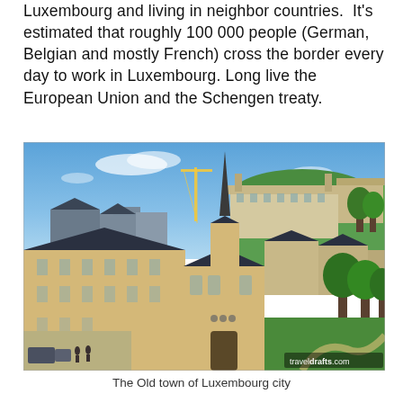Luxembourg and living in neighbor countries.  It's estimated that roughly 100 000 people (German, Belgian and mostly French) cross the border every day to work in Luxembourg. Long live the European Union and the Schengen treaty.
[Figure (photo): Aerial/elevated view of the Old Town of Luxembourg City showing a church with a tall spire, historic sandstone buildings with dark slate roofs, surrounding greenery and hills, under a blue sky. A traveldrafts.com watermark appears in the lower right corner.]
The Old town of Luxembourg city